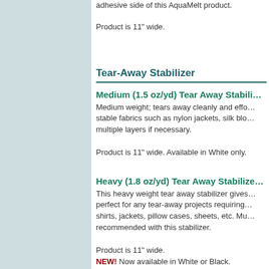adhesive side of this AquaMelt product.

Product is 11" wide.
Tear-Away Stabilizer
Medium (1.5 oz/yd) Tear Away Stabilizer
Medium weight; tears away cleanly and effortlessly. Best for stable fabrics such as nylon jackets, silk blouses, etc. Use multiple layers if necessary.

Product is 11" wide. Available in White only.
Heavy (1.8 oz/yd) Tear Away Stabilizer
This heavy weight tear away stabilizer gives extra support; perfect for any tear-away projects requiring extra stability such as shirts, jackets, pillow cases, sheets, etc. Multiple layers recommended with this stabilizer.

Product is 11" wide.
NEW! Now available in White or Black.